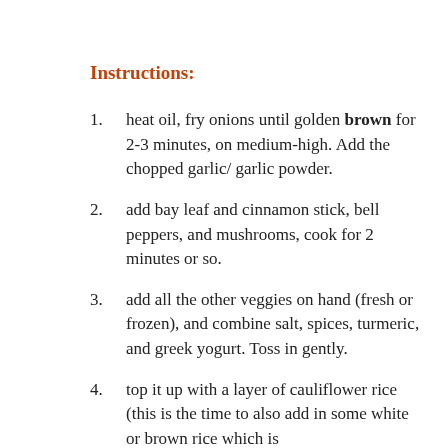Instructions:
heat oil, fry onions until golden brown for 2-3 minutes, on medium-high. Add the chopped garlic/ garlic powder.
add bay leaf and cinnamon stick, bell peppers, and mushrooms, cook for 2 minutes or so.
add all the other veggies on hand (fresh or frozen), and combine salt, spices, turmeric, and greek yogurt. Toss in gently.
top it up with a layer of cauliflower rice (this is the time to also add in some white or brown rice which is